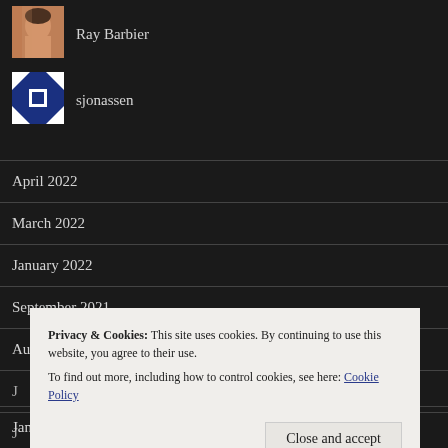[Figure (photo): Avatar photo of Ray Barbier, a person's face]
Ray Barbier
[Figure (logo): Avatar/icon for sjonassen, a blue and white geometric design]
sjonassen
April 2022
March 2022
January 2022
September 2021
August 2021
Privacy & Cookies: This site uses cookies. By continuing to use this website, you agree to their use.
To find out more, including how to control cookies, see here: Cookie Policy
Close and accept
January 2020